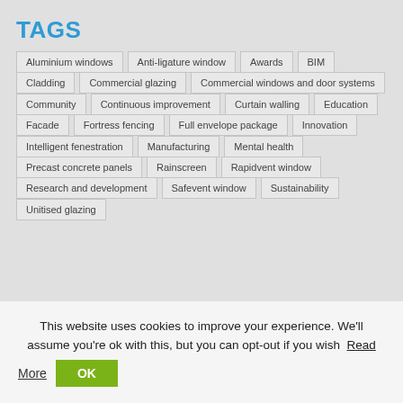TAGS
Aluminium windows
Anti-ligature window
Awards
BIM
Cladding
Commercial glazing
Commercial windows and door systems
Community
Continuous improvement
Curtain walling
Education
Facade
Fortress fencing
Full envelope package
Innovation
Intelligent fenestration
Manufacturing
Mental health
Precast concrete panels
Rainscreen
Rapidvent window
Research and development
Safevent window
Sustainability
Unitised glazing
This website uses cookies to improve your experience. We'll assume you're ok with this, but you can opt-out if you wish  Read More  OK